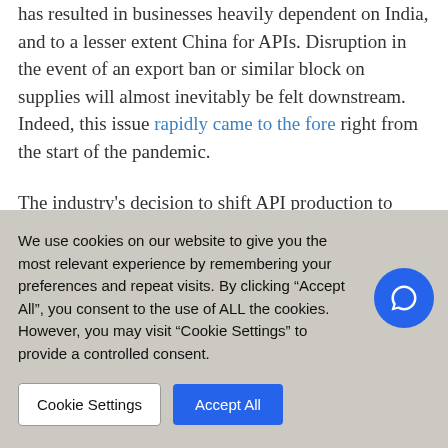has resulted in businesses heavily dependent on India, and to a lesser extent China for APIs. Disruption in the event of an export ban or similar block on supplies will almost inevitably be felt downstream. Indeed, this issue rapidly came to the fore right from the start of the pandemic.
The industry's decision to shift API production to Asia has also increased drug supplies' reliance on jurisdictions
We use cookies on our website to give you the most relevant experience by remembering your preferences and repeat visits. By clicking "Accept All", you consent to the use of ALL the cookies. However, you may visit "Cookie Settings" to provide a controlled consent.